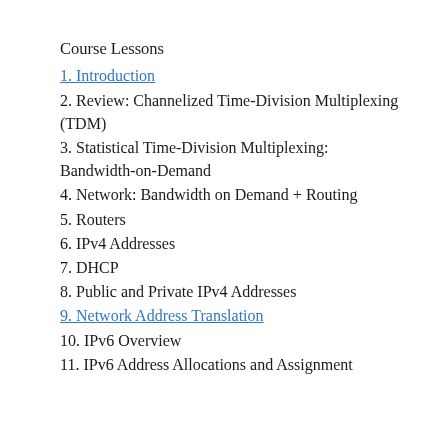Course Lessons
1. Introduction
2. Review: Channelized Time-Division Multiplexing (TDM)
3. Statistical Time-Division Multiplexing: Bandwidth-on-Demand
4. Network: Bandwidth on Demand + Routing
5. Routers
6. IPv4 Addresses
7. DHCP
8. Public and Private IPv4 Addresses
9. Network Address Translation
10. IPv6 Overview
11. IPv6 Address Allocations and Assignment